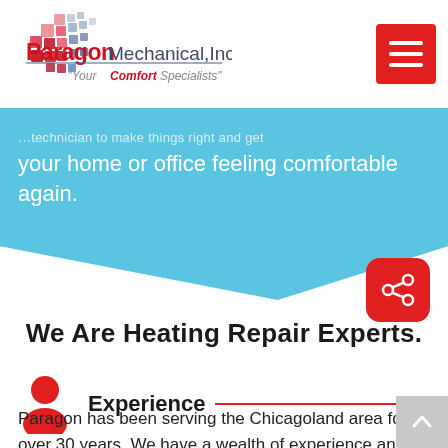[Figure (logo): Paragon Mechanical, Inc. logo with colorful squares and 'Your Comfort Specialists' tagline]
your home or office feeling comfortable again.
[Figure (other): Red share button icon with share/network symbol]
We Are Heating Repair Experts.
Experience
Paragon has been serving the Chicagoland area for over 30 years. We have a wealth of experience and